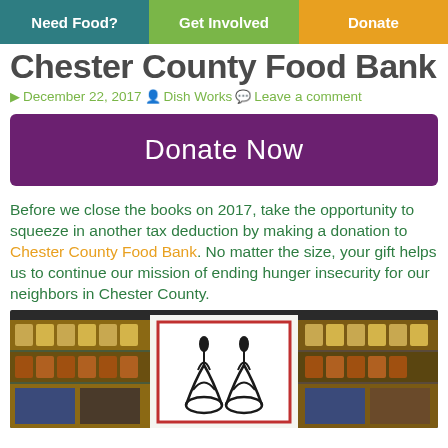Need Food? | Get Involved | Donate
Chester County Food Bank
December 22, 2017 Dish Works Leave a comment
[Figure (other): Purple 'Donate Now' button]
Before we close the books on 2017, take the opportunity to squeeze in another tax deduction by making a donation to Chester County Food Bank. No matter the size, your gift helps us to continue our mission of ending hunger insecurity for our neighbors in Chester County.
[Figure (photo): Photo of stacked food bank boxes and canned goods with a decorative sign featuring two candle-like logos]